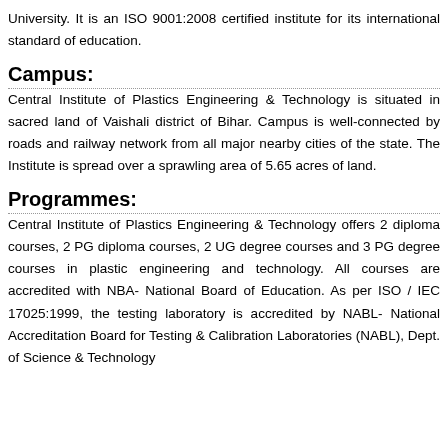University. It is an ISO 9001:2008 certified institute for its international standard of education.
Campus:
Central Institute of Plastics Engineering & Technology is situated in sacred land of Vaishali district of Bihar. Campus is well-connected by roads and railway network from all major nearby cities of the state. The Institute is spread over a sprawling area of 5.65 acres of land.
Programmes:
Central Institute of Plastics Engineering & Technology offers 2 diploma courses, 2 PG diploma courses, 2 UG degree courses and 3 PG degree courses in plastic engineering and technology. All courses are accredited with NBA- National Board of Education. As per ISO / IEC 17025:1999, the testing laboratory is accredited by NABL- National Accreditation Board for Testing & Calibration Laboratories (NABL), Dept. of Science & Technology